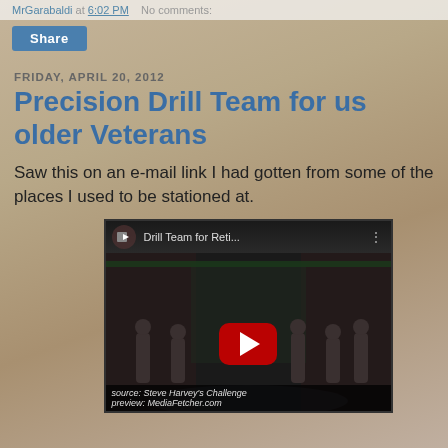MrGarabaldi at 6:02 PM   No comments:
Share
FRIDAY, APRIL 20, 2012
Precision Drill Team for us older Veterans
Saw this on an e-mail link I had gotten from some of the places I used to be stationed at.
[Figure (screenshot): Embedded YouTube video thumbnail showing 'Drill Team for Reti...' with a red play button in the center. The video shows performers on a stage. Caption reads: source: Steve Harvey's Challenge preview: MediaFetcher.com]